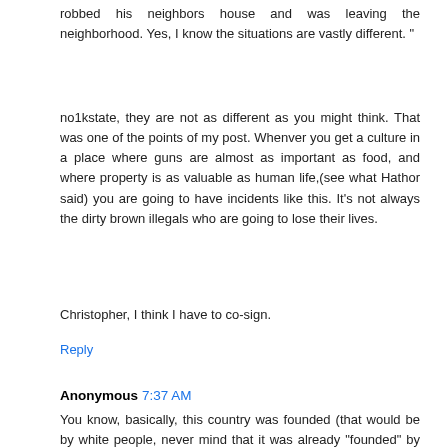robbed his neighbors house and was leaving the neighborhood. Yes, I know the situations are vastly different. "
no1kstate, they are not as different as you might think. That was one of the points of my post. Whenver you get a culture in a place where guns are almost as important as food, and where property is as valuable as human life,(see what Hathor said) you are going to have incidents like this. It's not always the dirty brown illegals who are going to lose their lives.
Christopher, I think I have to co-sign.
Reply
Anonymous 7:37 AM
You know, basically, this country was founded (that would be by white people, never mind that it was already "founded" by Native Americans, who didn't realize that's what they were...oh, never mind...) by criminals. Religious criminals at first. Then, we sent OUR criminals to the south